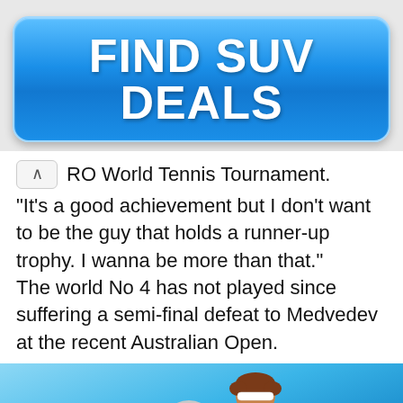[Figure (other): Blue rounded rectangle advertisement banner with white bold text reading FIND SUV DEALS]
RO World Tennis Tournament.
“It’s a good achievement but I don’t want to be the guy that holds a runner-up trophy. I wanna be more than that.” The world No 4 has not played since suffering a semi-final defeat to Medvedev at the recent Australian Open.
[Figure (photo): A tennis player wearing a white headband and white shirt standing on a blue court next to an older person, photographed at the Australian Open.]